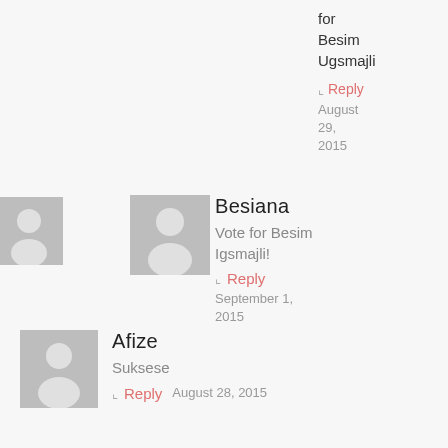for Besim Ugsmajli
↳ Reply August 29, 2015
Besiana
Vote for Besim Igsmajli!
↳ Reply September 1, 2015
Afize
Suksese
↳ Reply August 28, 2015